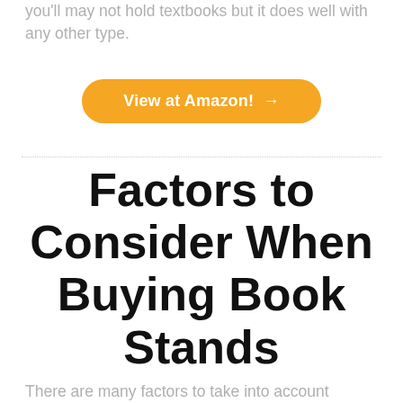you'll may not hold textbooks but it does well with any other type.
[Figure (other): Orange rounded button with white text 'View at Amazon! →']
Factors to Consider When Buying Book Stands
There are many factors to take into account